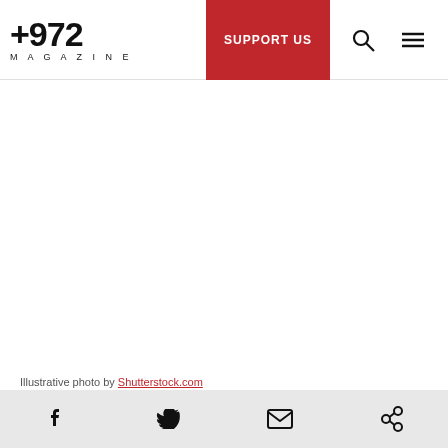+972 MAGAZINE — SUPPORT US
[Figure (photo): White/blank illustrative photo area]
Illustrative photo by Shutterstock.com
BERLIN — There is no such thing as “Hebrew literature written outside Israel” because the
Social share icons: Facebook, Twitter, Email, Link